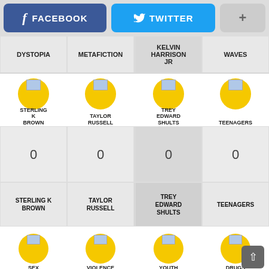[Figure (screenshot): Facebook and Twitter sharing buttons plus a plus button at the top of the page]
DYSTOPIA
METAFICTION
KELVIN HARRISON JR
WAVES
[Figure (illustration): Profile avatar circle with image placeholder - STERLING K BROWN]
[Figure (illustration): Profile avatar circle with image placeholder - TAYLOR RUSSELL]
[Figure (illustration): Profile avatar circle with image placeholder - TREY EDWARD SHULTS]
[Figure (illustration): Profile avatar circle with image placeholder - TEENAGERS]
0
0
0
0
STERLING K BROWN
TAYLOR RUSSELL
TREY EDWARD SHULTS
TEENAGERS
[Figure (illustration): Profile avatar circle with image placeholder - SEX]
[Figure (illustration): Profile avatar circle with image placeholder - VIOLENCE]
[Figure (illustration): Profile avatar circle with image placeholder - YOUTH]
[Figure (illustration): Profile avatar circle with image placeholder - DRUGS]